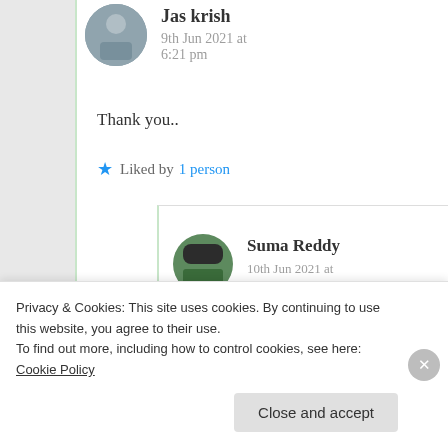Jas krish
9th Jun 2021 at 6:21 pm
Thank you..
★ Liked by 1 person
Suma Reddy
10th Jun 2021 at 6:40 am
Privacy & Cookies: This site uses cookies. By continuing to use this website, you agree to their use.
To find out more, including how to control cookies, see here: Cookie Policy
Close and accept